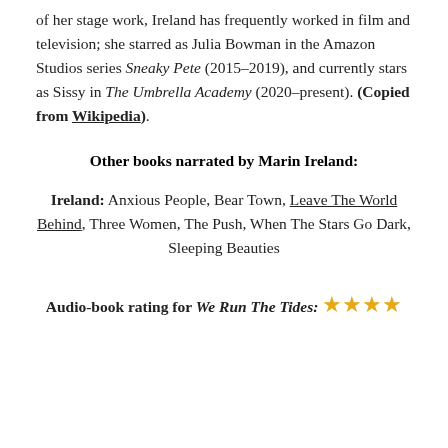of her stage work, Ireland has frequently worked in film and television; she starred as Julia Bowman in the Amazon Studios series Sneaky Pete (2015–2019), and currently stars as Sissy in The Umbrella Academy (2020–present). (Copied from Wikipedia).
Other books narrated by Marin Ireland:
Anxious People, Bear Town, Leave The World Behind, Three Women, The Push, When The Stars Go Dark, Sleeping Beauties
Audio-book rating for We Run The Tides: ★★★★